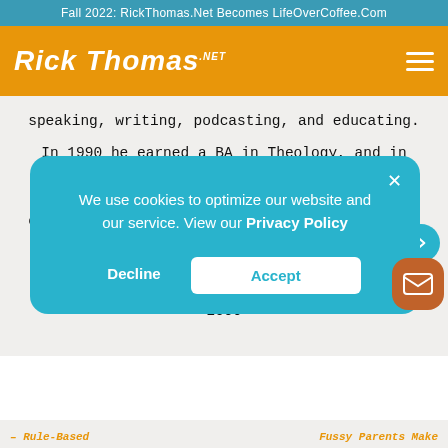Fall 2022: RickThomas.Net Becomes LifeOverCoffee.Com
[Figure (logo): Rick Thomas .net logo in white script on orange background with hamburger menu icon]
speaking, writing, podcasting, and educating.
In 1990 he earned a BA in Theology, and in 1991 he received a BS in Education. In 1993 he was ordained into Christian ministry, and in 2000 he graduated with an MA in Counseling from The Master's University in Santa Clarita, CA. In 2006
We use cookies to optimize our website and our service. View our Privacy Policy
Decline
Accept
– Rule-Based   Fussy Parents Make